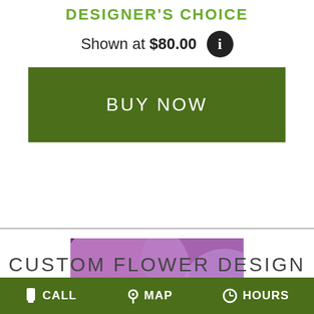DESIGNER'S CHOICE
Shown at $80.00
BUY NOW
[Figure (photo): Colorful floral arrangement photo with text overlay reading 'custom ARRANGEMENTS' in script and bold letters]
CUSTOM FLOWER DESIGN
CALL   MAP   HOURS